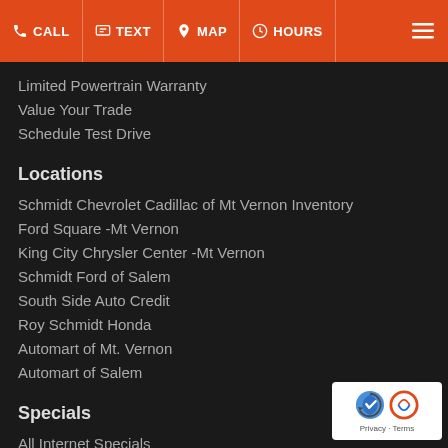CALL | TEXT | MAP | HOURS
Limited Powertrain Warranty
Value Your Trade
Schedule Test Drive
Locations
Schmidt Chevrolet Cadillac of Mt Vernon Inventory
Ford Square -Mt Vernon
King City Chrysler Center -Mt Vernon
Schmidt Ford of Salem
South Side Auto Credit
Roy Schmidt Honda
Automart of Mt. Vernon
Automart of Salem
Specials
All Internet Specials
Used Internet Specials
[Figure (logo): reCAPTCHA logo with Privacy and Terms text]